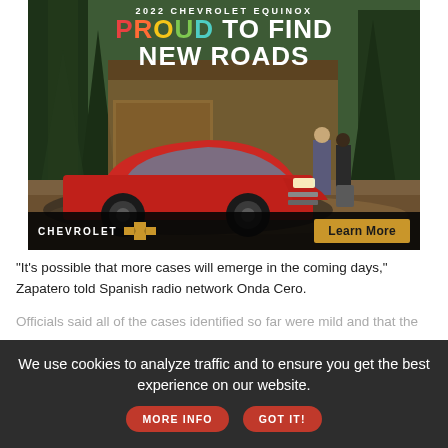[Figure (illustration): Chevrolet Equinox 2022 advertisement banner. Red SUV parked on driveway in front of a house with forest background. Two people with luggage standing beside the car. Text reads '2022 CHEVROLET EQUINOX', 'PROUD TO FIND NEW ROADS'. Bottom bar shows CHEVROLET logo with bowtie emblem and 'Learn More' gold button.]
"It's possible that more cases will emerge in the coming days," Zapatero told Spanish radio network Onda Cero.
Officials said all of the cases identified so far were mild and that the
We use cookies to analyze traffic and to ensure you get the best experience on our website.